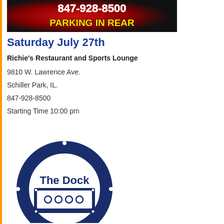[Figure (other): Red and black banner with phone number 847-928-8500 and text PARKING IN REAR in white and yellow bold letters]
Saturday July 27th
Richie's Restaurant and Sports Lounge
9810 W. Lawrence Ave.
Schiller Park, IL.
847-928-8500
Starting Time 10:00 pm
[Figure (logo): The Dock circular logo in navy blue and white, showing a stylized dock/stage with the text The Dock]